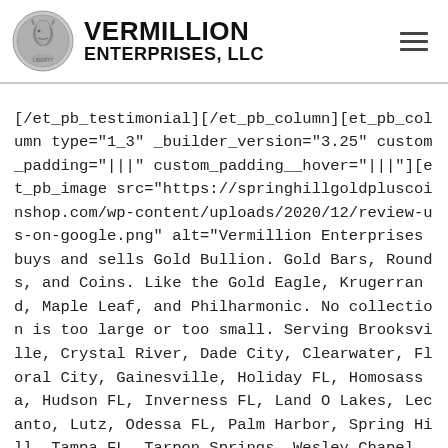VERMILLION ENTERPRISES, LLC
[/et_pb_testimonial][/et_pb_column][et_pb_column type="1_3" _builder_version="3.25" custom_padding="|||" custom_padding__hover="|||"][et_pb_image src="https://springhillgoldpluscoinshop.com/wp-content/uploads/2020/12/review-us-on-google.png" alt="Vermillion Enterprises buys and sells Gold Bullion. Gold Bars, Rounds, and Coins. Like the Gold Eagle, Krugerrand, Maple Leaf, and Philharmonic. No collection is too large or too small. Serving Brooksville, Crystal River, Dade City, Clearwater, Floral City, Gainesville, Holiday FL, Homosassa, Hudson FL, Inverness FL, Land O Lakes, Lecanto, Lutz, Odessa FL, Palm Harbor, Spring Hill, Tampa FL, Tarpon Springs, Wesley Chapel, Zephyrhills" title_text="review-us-on-google" align="center" _builder_version="4.6.1" module_preset="default"]